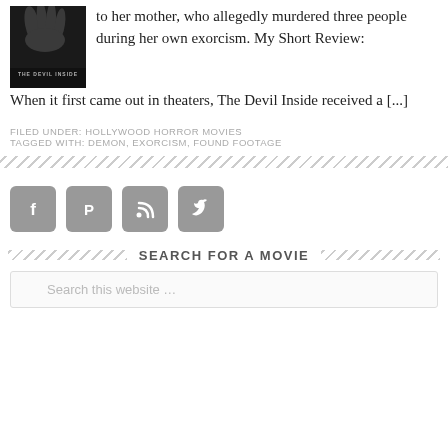[Figure (photo): Movie poster/cover image for 'The Devil Inside' showing a hand and dark background with title text]
to her mother, who allegedly murdered three people during her own exorcism. My Short Review: When it first came out in theaters, The Devil Inside received a [...]
FILED UNDER: HOLLYWOOD HORROR MOVIES
TAGGED WITH: DEMON, EXORCISM, FOUND FOOTAGE
[Figure (infographic): Social media icons: Facebook, Pinterest, RSS, Twitter]
SEARCH FOR A MOVIE